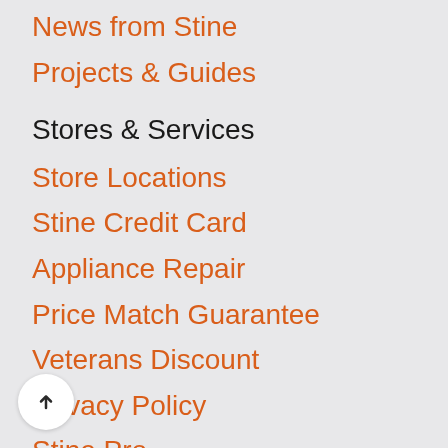News from Stine
Projects & Guides
Stores & Services
Store Locations
Stine Credit Card
Appliance Repair
Price Match Guarantee
Veterans Discount
Privacy Policy
Stine Pro
Terms & Conditions